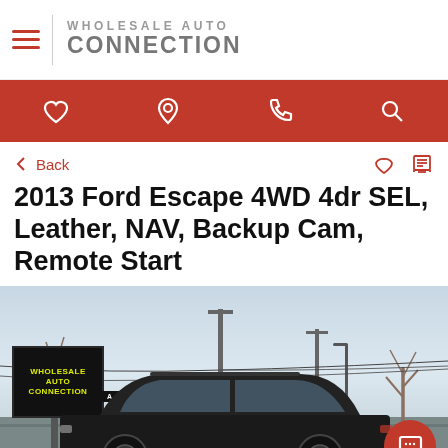Wholesale Auto Connection
2013 Ford Escape 4WD 4dr SEL, Leather, NAV, Backup Cam, Remote Start
[Figure (photo): Exterior photo of a 2013 Ford Escape at the Wholesale Auto Connection dealership lot. The dealership sign reads WHOLESALE AUTO CONNECTION. A cash sign is visible. Power poles and wires in background, some bare trees. Overcast sky. A red chat button appears in the bottom right corner.]